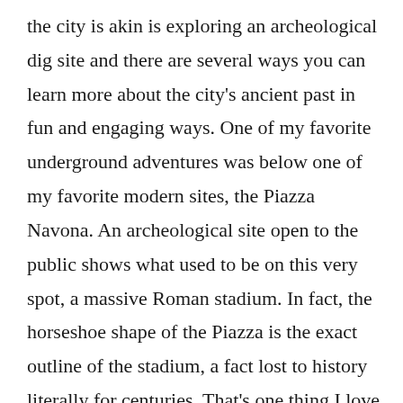the city is akin is exploring an archeological dig site and there are several ways you can learn more about the city's ancient past in fun and engaging ways. One of my favorite underground adventures was below one of my favorite modern sites, the Piazza Navona. An archeological site open to the public shows what used to be on this very spot, a massive Roman stadium. In fact, the horseshoe shape of the Piazza is the exact outline of the stadium, a fact lost to history literally for centuries. That's one thing I love most about Rome, it tells the history of Western civilization in a way no other city can, all in a setting that is undeniably gorgeous. Another popular spot that is both below and above ground is an easy walk from Tiber Island and a gorgeous place to